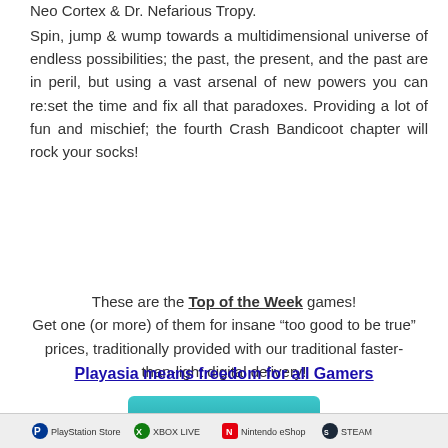Neo Cortex & Dr. Nefarious Tropy.
Spin, jump & wump towards a multidimensional universe of endless possibilities; the past, the present, and the past are in peril, but using a vast arsenal of new powers you can re:set the time and fix all that paradoxes. Providing a lot of fun and mischief; the fourth Crash Bandicoot chapter will rock your socks!
These are the Top of the Week games! Get one (or more) of them for insane "too good to be true" prices, traditionally provided with our traditional faster-than-light digital delivery!
Playasia means freedom for all Gamers
BUY NOW
[Figure (infographic): Bottom banner showing platform logos: PlayStation Store, XBOX LIVE, Nintendo eShop, STEAM]